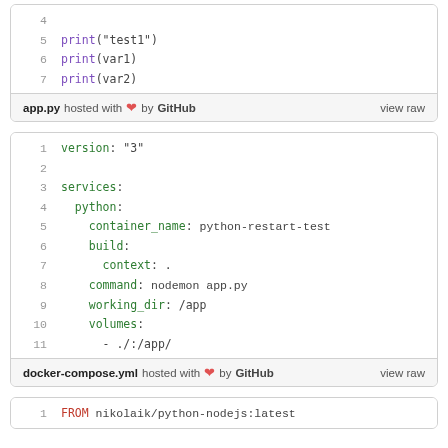[Figure (screenshot): Code block showing app.py Python file with lines 4-7, footer: app.py hosted with heart by GitHub, view raw]
[Figure (screenshot): Code block showing docker-compose.yml with lines 1-11, footer: docker-compose.yml hosted with heart by GitHub, view raw]
[Figure (screenshot): Code block showing Dockerfile with line 1: FROM nikolaik/python-nodejs:latest]